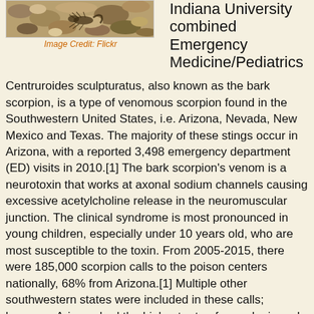[Figure (photo): Photograph of a bark scorpion on rocky/sandy ground with debris]
Image Credit: Flickr
Indiana University combined Emergency Medicine/Pediatrics
Centruroides sculpturatus, also known as the bark scorpion, is a type of venomous scorpion found in the Southwestern United States, i.e. Arizona, Nevada, New Mexico and Texas. The majority of these stings occur in Arizona, with a reported 3,498 emergency department (ED) visits in 2010.[1] The bark scorpion's venom is a neurotoxin that works at axonal sodium channels causing excessive acetylcholine release in the neuromuscular junction. The clinical syndrome is most pronounced in young children, especially under 10 years old, who are most susceptible to the toxin. From 2005-2015, there were 185,000 scorpion calls to the poison centers nationally, 68% from Arizona.[1] Multiple other southwestern states were included in these calls; however, Arizona had the highest rate of neurologic and respiratory symptoms, and hospital admission.